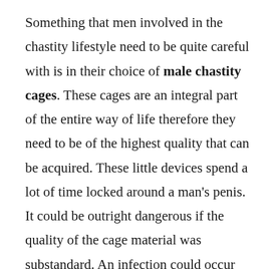Something that men involved in the chastity lifestyle need to be quite careful with is in their choice of male chastity cages. These cages are an integral part of the entire way of life therefore they need to be of the highest quality that can be acquired. These little devices spend a lot of time locked around a man's penis. It could be outright dangerous if the quality of the cage material was substandard. An infection could occur that might possibly lead to something very